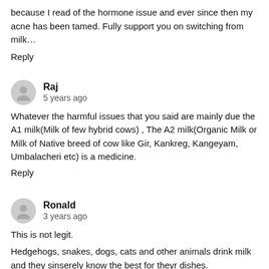because I read of the hormone issue and ever since then my acne has been tamed. Fully support you on switching from milk…
Reply
Raj
5 years ago
Whatever the harmful issues that you said are mainly due the A1 milk(Milk of few hybrid cows) , The A2 milk(Organic Milk or Milk of Native breed of cow like Gir, Kankreg, Kangeyam, Umbalacheri etc) is a medicine.
Reply
Ronald
3 years ago
This is not legit.
Hedgehogs, snakes, dogs, cats and other animals drink milk and they sinserely know the best for theyr dishes.
The farms that use aditional suplyments are creating bad milk. But the traditional old fasioned farm products are making wonderful and